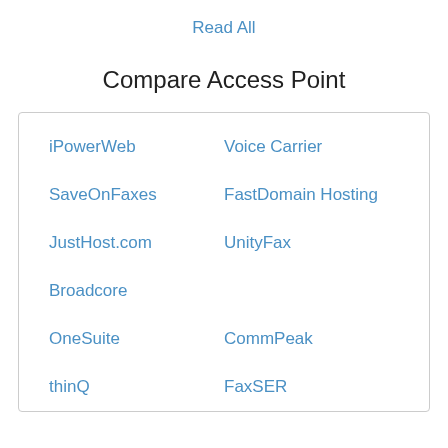Read All
Compare Access Point
iPowerWeb
Voice Carrier
SaveOnFaxes
FastDomain Hosting
JustHost.com
UnityFax
Broadcore
OneSuite
CommPeak
thinQ
FaxSER